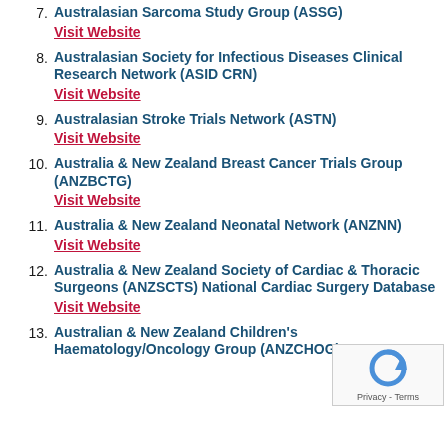7. Australasian Sarcoma Study Group (ASSG)
Visit Website
8. Australasian Society for Infectious Diseases Clinical Research Network (ASID CRN)
Visit Website
9. Australasian Stroke Trials Network (ASTN)
Visit Website
10. Australia & New Zealand Breast Cancer Trials Group (ANZBCTG)
Visit Website
11. Australia & New Zealand Neonatal Network (ANZNN)
Visit Website
12. Australia & New Zealand Society of Cardiac & Thoracic Surgeons (ANZSCTS) National Cardiac Surgery Database
Visit Website
13. Australian & New Zealand Children's Haematology/Oncology Group (ANZCHOG)